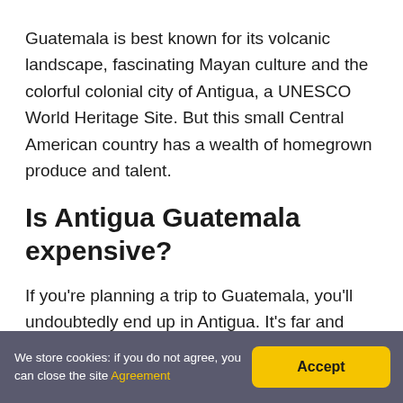Guatemala is best known for its volcanic landscape, fascinating Mayan culture and the colorful colonial city of Antigua, a UNESCO World Heritage Site. But this small Central American country has a wealth of homegrown produce and talent.
Is Antigua Guatemala expensive?
If you're planning a trip to Guatemala, you'll undoubtedly end up in Antigua. It's far and away the most touristic city in Guatemala, and for good reason. ... Despite it being Guatemala's most expensive destination,
We store cookies: if you do not agree, you can close the site Agreement